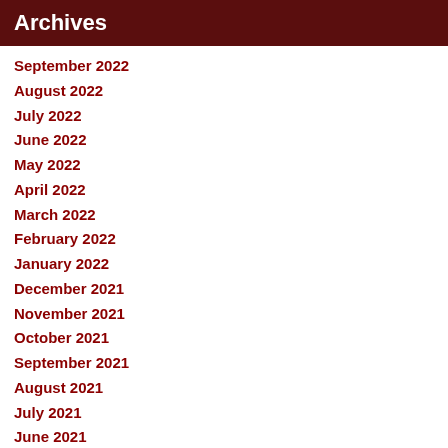Archives
September 2022
August 2022
July 2022
June 2022
May 2022
April 2022
March 2022
February 2022
January 2022
December 2021
November 2021
October 2021
September 2021
August 2021
July 2021
June 2021
May 2021
April 2021
March 2021
February 2021
January 2021